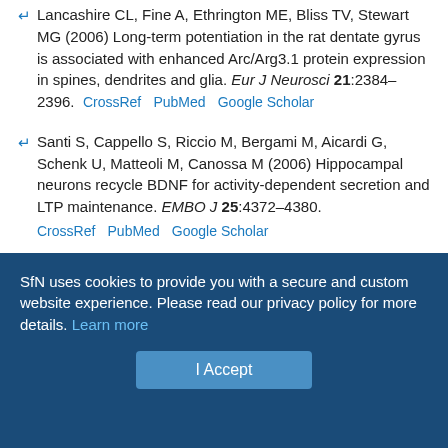Lancashire CL, Fine A, Ethrington ME, Bliss TV, Stewart MG (2006) Long-term potentiation in the rat dentate gyrus is associated with enhanced Arc/Arg3.1 protein expression in spines, dendrites and glia. Eur J Neurosci 21:2384–2396. CrossRef PubMed Google Scholar
Santi S, Cappello S, Riccio M, Bergami M, Aicardi G, Schenk U, Matteoli M, Canossa M (2006) Hippocampal neurons recycle BDNF for activity-dependent secretion and LTP maintenance. EMBO J 25:4372–4380. CrossRef PubMed Google Scholar
Shepherd JD, Rumbaugh G, Wu J, Chowdhury S, Plath N, Kuhl D, Huganir RL, Worley PF (2006) Arc/Arg3.1 mediates homeostatic synaptic scaling of AMPA receptors. Neuron 52:475–484. CrossRef PubMed Google Scholar
Smart FM, Edelman GM, Vanderklish PW (2003) BDNF induces translocation of initiation factor 4E to mRNA granules: evidence for a role of synaptic microfilaments and integrins. Proc Natl Acad Sci U S A
SfN uses cookies to provide you with a secure and custom website experience. Please read our privacy policy for more details. Learn more